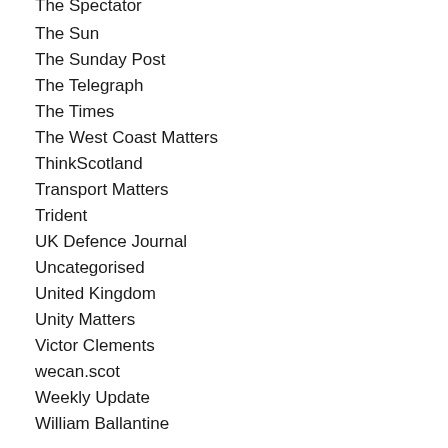The Spectator
The Sun
The Sunday Post
The Telegraph
The Times
The West Coast Matters
ThinkScotland
Transport Matters
Trident
UK Defence Journal
Uncategorised
United Kingdom
Unity Matters
Victor Clements
wecan.scot
Weekly Update
William Ballantine